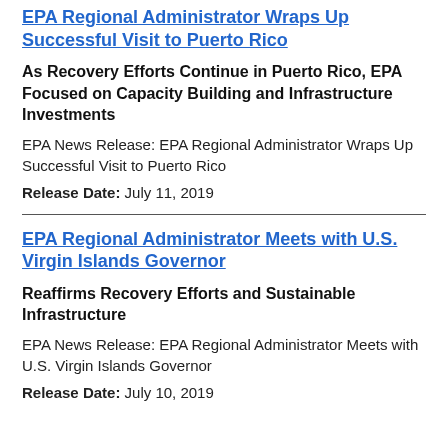EPA Regional Administrator Wraps Up Successful Visit to Puerto Rico
As Recovery Efforts Continue in Puerto Rico, EPA Focused on Capacity Building and Infrastructure Investments
EPA News Release: EPA Regional Administrator Wraps Up Successful Visit to Puerto Rico
Release Date: July 11, 2019
EPA Regional Administrator Meets with U.S. Virgin Islands Governor
Reaffirms Recovery Efforts and Sustainable Infrastructure
EPA News Release: EPA Regional Administrator Meets with U.S. Virgin Islands Governor
Release Date: July 10, 2019